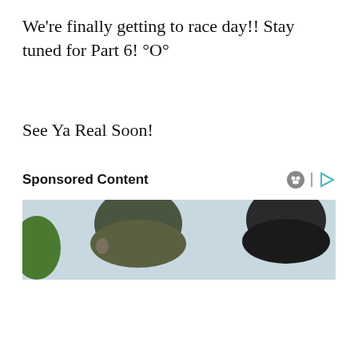We’re finally getting to race day!! Stay tuned for Part 6! °O°
See Ya Real Soon!
Sponsored Content
[Figure (photo): Two people seen from behind with heads visible against a light sky background, part of sponsored content advertisement]
Privacy & Cookies: This site uses cookies. By continuing to use this website, you agree to their use.
To find out more, including how to control cookies, see here: Cookie Policy
Close and accept